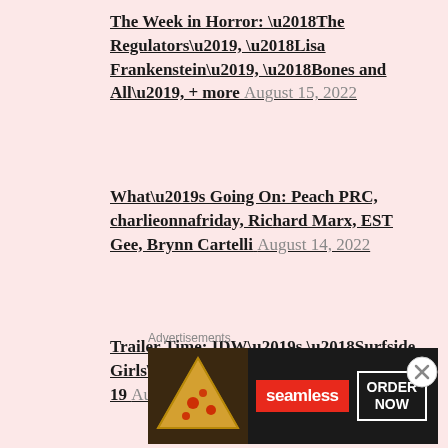The Week in Horror: ‘The Regulators’, ‘Lisa Frankenstein’, ‘Bones and All’, + more August 15, 2022
What’s Going On: Peach PRC, charlieonnafriday, Richard Marx, EST Gee, Brynn Cartelli August 14, 2022
Trailer Time: IDW’s ‘Surfside Girls’ Arrives on Apple+ on August 19 August 13, 2022
Advertisements
[Figure (other): Seamless food delivery advertisement banner with pizza image on left, red Seamless logo in center, and ORDER NOW button on right, dark background]